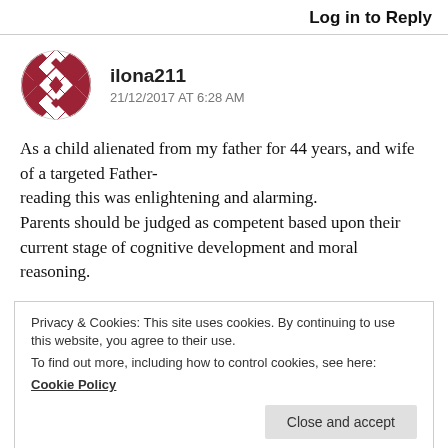Log in to Reply
[Figure (illustration): Decorative geometric avatar icon with red/dark red diamond and square pattern on white background]
ilona211
21/12/2017 AT 6:28 AM
As a child alienated from my father for 44 years, and wife of a targeted Father-
reading this was enlightening and alarming.
Parents should be judged as competent based upon their current stage of cognitive development and moral reasoning.
Privacy & Cookies: This site uses cookies. By continuing to use this website, you agree to their use.
To find out more, including how to control cookies, see here:
Cookie Policy
Close and accept